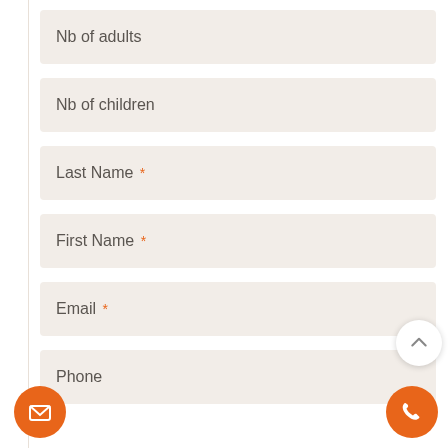Nb of adults
Nb of children
Last Name *
First Name *
Email *
Phone